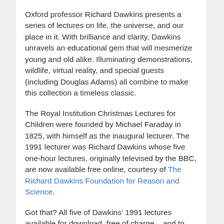Oxford professor Richard Dawkins presents a series of lectures on life, the universe, and our place in it. With brilliance and clarity, Dawkins unravels an educational gem that will mesmerize young and old alike. Illuminating demonstrations, wildlife, virtual reality, and special guests (including Douglas Adams) all combine to make this collection a timeless classic.
The Royal Institution Christmas Lectures for Children were founded by Michael Faraday in 1825, with himself as the inaugural lecturer. The 1991 lecturer was Richard Dawkins whose five one-hour lectures, originally televised by the BBC, are now available free online, courtesy of The Richard Dawkins Foundation for Reason and Science.
Got that? All five of Dawkins’ 1991 lectures available for download, free of charge – and to keep the Mac jockeys happy they’re in Quicktime format (although if anyone can’t